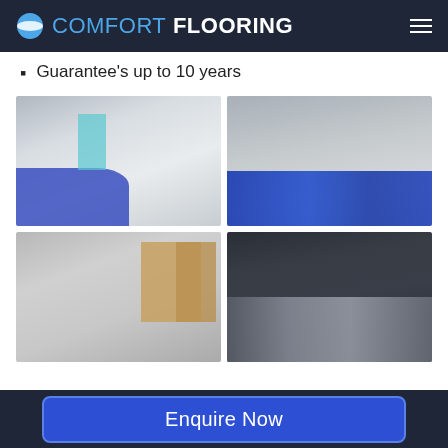COMFORT FLOORING
Guarantee's up to 10 years
[Figure (photo): Indoor warehouse/facility with light gray epoxy floor and blue accent flooring area, view toward doorways]
[Figure (photo): Industrial space with blue and gray epoxy floor, wide open warehouse interior]
[Figure (photo): Indoor room with gray epoxy floor and wooden door frames/storage cutouts]
[Figure (photo): Dark industrial warehouse with shiny gray epoxy floor and ceiling lights]
Enquire Now